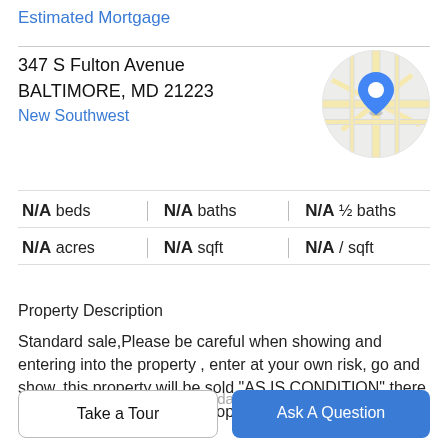Estimated Mortgage
347 S Fulton Avenue
BALTIMORE, MD 21223
New Southwest
[Figure (map): Circular map thumbnail showing street map with blue location pin marker]
N/A beds | N/A baths | N/A ½ baths | N/A acres | N/A sqft | N/A / sqft
Property Description
Standard sale,Please be careful when showing and entering into the property , enter at your own risk, go and show, this property will be sold "AS IS CONDITION" there is NO for sale sign on the property.The seller will pay half
of the sales transfer and recordation tax costs(50/50)
Take a Tour
Ask A Question